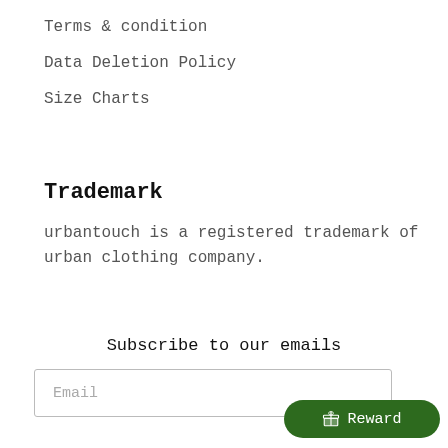Terms & condition
Data Deletion Policy
Size Charts
Trademark
urbantouch is a registered trademark of urban clothing company.
Subscribe to our emails
Email